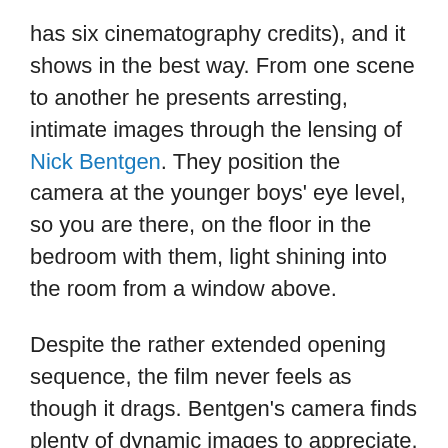has six cinematography credits), and it shows in the best way. From one scene to another he presents arresting, intimate images through the lensing of Nick Bentgen. They position the camera at the younger boys' eye level, so you are there, on the floor in the bedroom with them, light shining into the room from a window above.
Despite the rather extended opening sequence, the film never feels as though it drags. Bentgen's camera finds plenty of dynamic images to appreciate. Sometimes they are distant and obscure, rich with wonder. There are no pans or zooms, only an opening to a lush landscape that hints at layers of imagery and sometimes mystery. He does not shoot dreamily like Malick's current cinematographer, Emmanuel Lubezki. He shoots more intimately, drawing you in close to the characters without